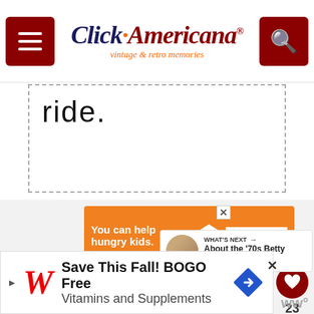Click Americana — vintage & retro memories
ride.
[Figure (infographic): Orange ad banner: 'You can help hungry kids.' with No Kid Hungry logo and 'LEARN HOW' button]
[Figure (infographic): What's Next widget showing a woman's photo with text 'About the ’70s Betty White....']
[Figure (infographic): Bottom ad: Walgreens 'Save This Fall! BOGO Free Vitamins and Supplements' with navigation arrow icon]